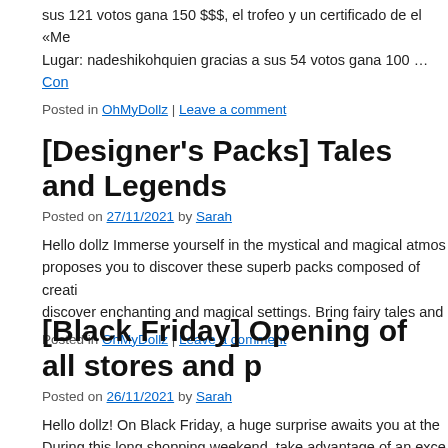sus 121 votos gana 150 $$$, el trofeo y un certificado de el «Me Lugar: nadeshikohquien gracias a sus 54 votos gana 100 … Con
Posted in OhMyDollz | Leave a comment
[Designer's Packs] Tales and Legends
Posted on 27/11/2021 by Sarah
Hello dollz Immerse yourself in the mystical and magical atmos proposes you to discover these superb packs composed of creati discover enchanting and magical settings. Bring fairy tales and
Posted in OhMyDollz | Leave a comment
[Black Friday] Opening of all stores and p
Posted on 26/11/2021 by Sarah
Hello dollz! On Black Friday, a huge surprise awaits you at the During this long shopping weekend, take advantage of an exce